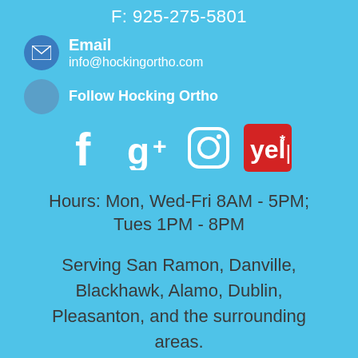F: 925-275-5801
Email
info@hockingortho.com
Follow Hocking Ortho
[Figure (infographic): Social media icons: Facebook, Google+, Instagram, Yelp]
Hours: Mon, Wed-Fri 8AM - 5PM; Tues 1PM - 8PM
Serving San Ramon, Danville, Blackhawk, Alamo, Dublin, Pleasanton, and the surrounding areas.